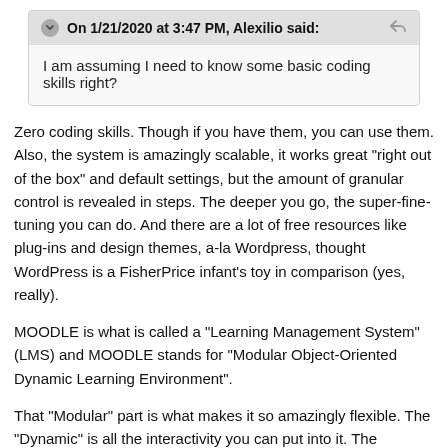On 1/21/2020 at 3:47 PM, Alexilio said:
I am assuming I need to know some basic coding skills right?
Zero coding skills. Though if you have them, you can use them. Also, the system is amazingly scalable, it works great "right out of the box" and default settings, but the amount of granular control is revealed in steps. The deeper you go, the super-fine-tuning you can do. And there are a lot of free resources like plug-ins and design themes, a-la Wordpress, thought WordPress is a FisherPrice infant's toy in comparison (yes, really).
MOODLE is what is called a "Learning Management System" (LMS) and MOODLE stands for "Modular Object-Oriented Dynamic Learning Environment".
That "Modular" part is what makes it so amazingly flexible. The "Dynamic" is all the interactivity you can put into it. The "Management" part is what allows you (and your students) to keep track of what's going on and how well they're doing. I'll stop here, go check out their web site, read the system requirement on their download page. You can run a copy on a local computer for experimenting, etc., or on a web host to be accessible